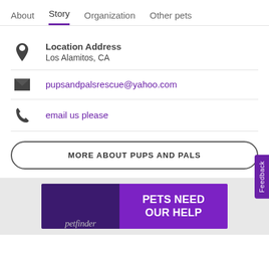About  Story  Organization  Other pets
Location Address
Los Alamitos, CA
pupsandpalsrescue@yahoo.com
email us please
MORE ABOUT PUPS AND PALS
[Figure (infographic): Petfinder banner with text PETS NEED OUR HELP on purple background]
Feedback